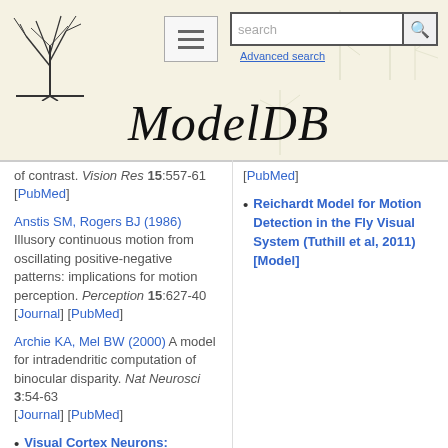[Figure (logo): ModelDB website header with logo (tree/neuron illustration), hamburger menu button, search box, Advanced search link, and ModelDB title in italic serif font]
of contrast. Vision Res 15:557-61 [PubMed]
[PubMed]
Anstis SM, Rogers BJ (1986) Illusory continuous motion from oscillating positive-negative patterns: implications for motion perception. Perception 15:627-40 [Journal] [PubMed]
Reichardt Model for Motion Detection in the Fly Visual System (Tuthill et al, 2011) [Model]
Archie KA, Mel BW (2000) A model for intradendritic computation of binocular disparity. Nat Neurosci 3:54-63 [Journal] [PubMed]
Visual Cortex Neurons: Dendritic computations (Archie, Mel 2000) [Model]
Barlow HB, Levick WR (1965)